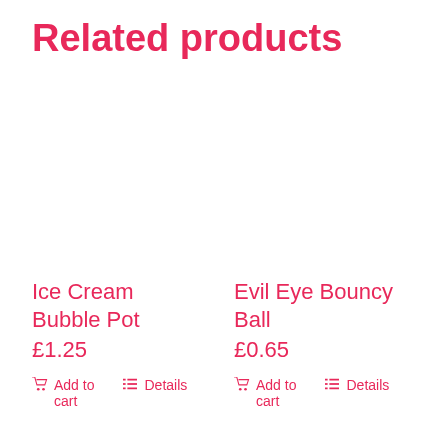Related products
Ice Cream Bubble Pot
£1.25
Add to cart
Details
Evil Eye Bouncy Ball
£0.65
Add to cart
Details